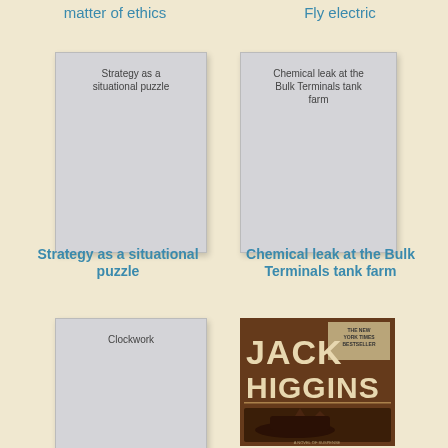matter of ethics
Fly electric
[Figure (illustration): Blank book cover placeholder with text 'Strategy as a situational puzzle']
[Figure (illustration): Blank book cover placeholder with text 'Chemical leak at the Bulk Terminals tank farm']
Strategy as a situational puzzle
Chemical leak at the Bulk Terminals tank farm
[Figure (illustration): Blank book cover placeholder with text 'Clockwork']
[Figure (photo): Book cover: Jack Higgins - The New York Times Bestseller, brown cover with Jack Higgins name and imagery]